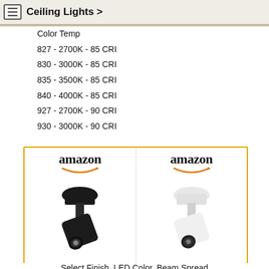Ceiling Lights >
Color Temp
827 - 2700K - 85 CRI
830 - 3000K - 85 CRI
835 - 3500K - 85 CRI
840 - 4000K - 85 CRI
927 - 2700K - 90 CRI
930 - 3000K - 90 CRI
[Figure (screenshot): Two Amazon product cards for WAC Lighting ceiling spotlights. Left card shows black finish at $276.50 with Prime. Right card shows white finish at $299.65. Both have Shop now buttons.]
Select Finish, LED Color, Beam Spread
[Figure (screenshot): Partial Amazon product cards showing amazon logos at bottom of page]